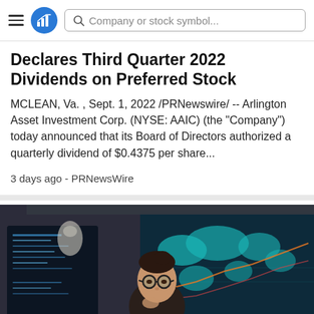Company or stock symbol...
Declares Third Quarter 2022 Dividends on Preferred Stock
MCLEAN, Va. , Sept. 1, 2022 /PRNewswire/ -- Arlington Asset Investment Corp. (NYSE: AAIC) (the "Company") today announced that its Board of Directors authorized a quarterly dividend of $0.4375 per share...
3 days ago - PRNewsWire
[Figure (photo): A young woman with glasses looking at multiple computer monitors displaying financial data and a world map with stock market information.]